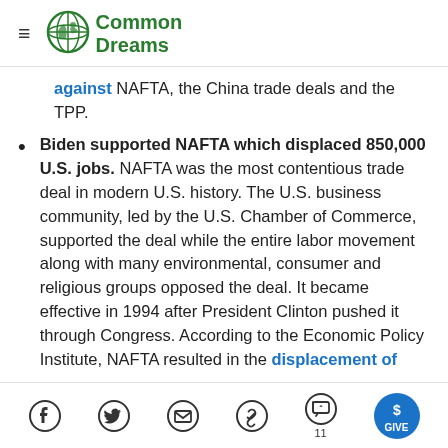Common Dreams
against NAFTA, the China trade deals and the TPP.
Biden supported NAFTA which displaced 850,000 U.S. jobs. NAFTA was the most contentious trade deal in modern U.S. history. The U.S. business community, led by the U.S. Chamber of Commerce, supported the deal while the entire labor movement along with many environmental, consumer and religious groups opposed the deal. It became effective in 1994 after President Clinton pushed it through Congress. According to the Economic Policy Institute, NAFTA resulted in the displacement of
Social share icons: Facebook, Twitter, Email, Link, Comments (11), Give